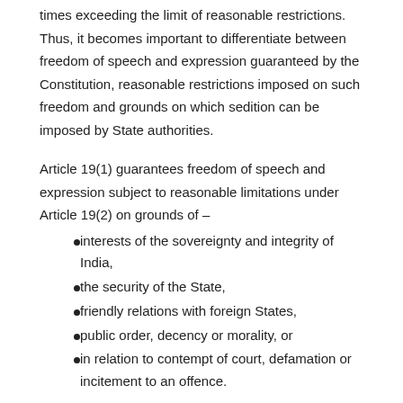times exceeding the limit of reasonable restrictions. Thus, it becomes important to differentiate between freedom of speech and expression guaranteed by the Constitution, reasonable restrictions imposed on such freedom and grounds on which sedition can be imposed by State authorities.
Article 19(1) guarantees freedom of speech and expression subject to reasonable limitations under Article 19(2) on grounds of –
interests of the sovereignty and integrity of India,
the security of the State,
friendly relations with foreign States,
public order, decency or morality, or
in relation to contempt of court, defamation or incitement to an offence.
WHAT AMOUNTS TO SEDITION?